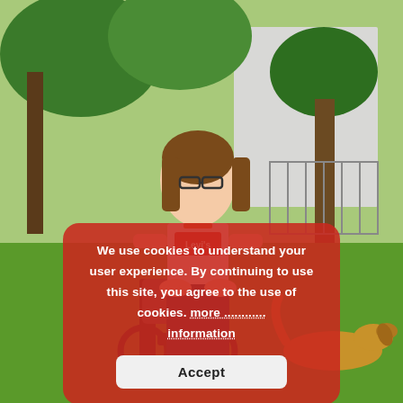[Figure (photo): A young woman with glasses wearing a white Levi's t-shirt sitting in a wheelchair on green grass outdoors, with trees and a building in the background. A golden dog is lying on the grass to the right.]
We use cookies to understand your user experience. By continuing to use this site, you agree to the use of cookies. more information